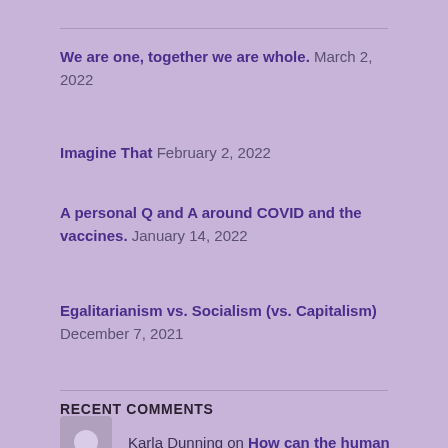We are one, together we are whole. March 2, 2022
Imagine That February 2, 2022
A personal Q and A around COVID and the vaccines. January 14, 2022
Egalitarianism vs. Socialism (vs. Capitalism) December 7, 2021
RECENT COMMENTS
Karla Dunning on How can the human